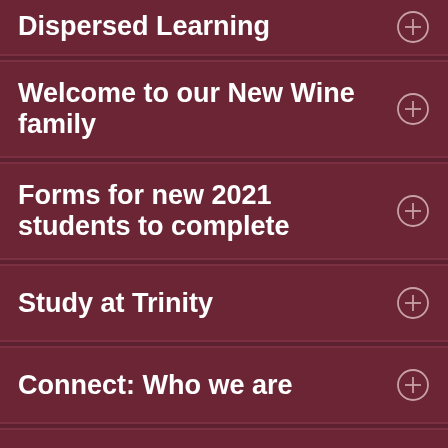Dispersed Learning
Welcome to our New Wine family
Forms for new 2021 students to complete
Study at Trinity
Connect: Who we are
What is a Pioneer?